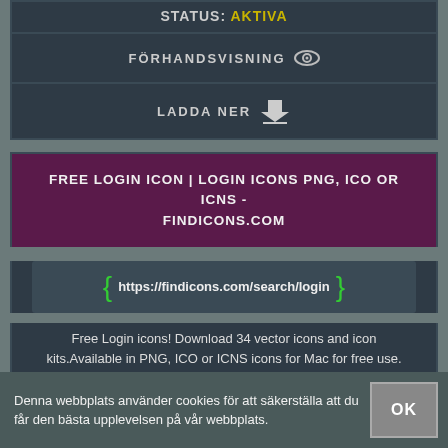STATUS: AKTIVA
FÖRHANDSVISNING
LADDA NER
FREE LOGIN ICON | LOGIN ICONS PNG, ICO OR ICNS - FINDICONS.COM
https://findicons.com/search/login
Free Login icons! Download 34 vector icons and icon kits.Available in PNG, ICO or ICNS icons for Mac for free use.
STATUS: AKTIVA
FÖRHANDSVISNING
Denna webbplats använder cookies för att säkerställa att du får den bästa upplevelsen på vår webbplats.
OK